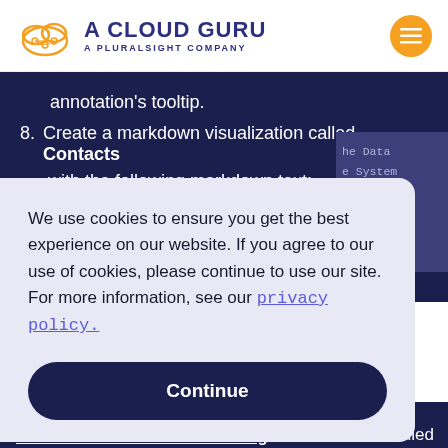[Figure (logo): A Cloud Guru – A Pluralsight Company logo with orange cloud SVG icon]
annotation's tooltip.
8. Create a markdown visualization called Contacts with the following markdown text:
[Figure (screenshot): Cookie consent overlay: 'We use cookies to ensure you get the best experience on our website. If you agree to our use of cookies, please continue to use our site. For more information, see our privacy policy.' with a Continue button]
called
Client Sources with the following